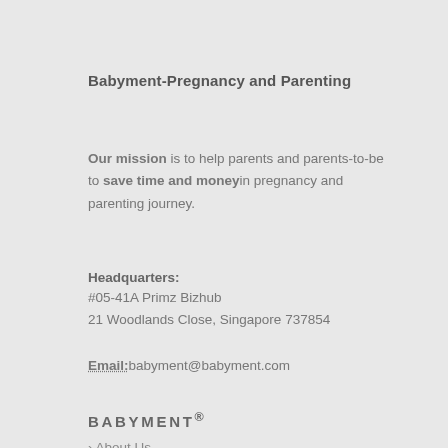Babyment-Pregnancy and Parenting
Our mission is to help parents and parents-to-be to save time and money in pregnancy and parenting journey.
Headquarters:
#05-41A Primz Bizhub
21 Woodlands Close, Singapore 737854
Email: babyment@babyment.com
BABYMENT®
About Us